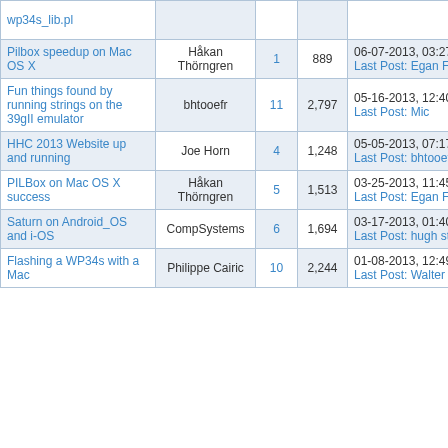| Thread | Author | Replies | Views | Last Post |
| --- | --- | --- | --- | --- |
| wp34s_lib.pl |  |  |  |  |
| Pilbox speedup on Mac OS X | Håkan Thörngren | 1 | 889 | 06-07-2013, 03:27 PM
Last Post: Egan Ford |
| Fun things found by running strings on the 39gII emulator | bhtooefr | 11 | 2,797 | 05-16-2013, 12:40 AM
Last Post: Mic |
| HHC 2013 Website up and running | Joe Horn | 4 | 1,248 | 05-05-2013, 07:17 PM
Last Post: bhtooefr |
| PILBox on Mac OS X success | Håkan Thörngren | 5 | 1,513 | 03-25-2013, 11:45 AM
Last Post: Egan Ford |
| Saturn on Android_OS and i-OS | CompSystems | 6 | 1,694 | 03-17-2013, 01:40 PM
Last Post: hugh steers |
| Flashing a WP34s with a Mac | Philippe Cairic | 10 | 2,244 | 01-08-2013, 12:49 PM
Last Post: Walter B |